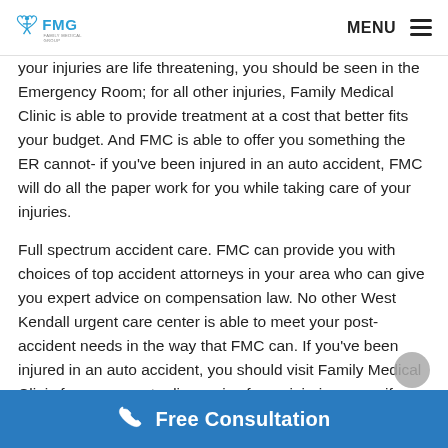FMG Family Medical Group | MENU
your injuries are life threatening, you should be seen in the Emergency Room; for all other injuries, Family Medical Clinic is able to provide treatment at a cost that better fits your budget. And FMC is able to offer you something the ER cannot- if you've been injured in an auto accident, FMC will do all the paper work for you while taking care of your injuries.
Full spectrum accident care. FMC can provide you with choices of top accident attorneys in your area who can give you expert advice on compensation law. No other West Kendall urgent care center is able to meet your post-accident needs in the way that FMC can. If you've been injured in an auto accident, you should visit Family Medical Clinic for an accurate diagnosis of your injuries, even if you don't feel any pain or see any effects of the crash. The fact is that pain and other symptoms may not present immediately following an accident. You have only 14
Free Consultation